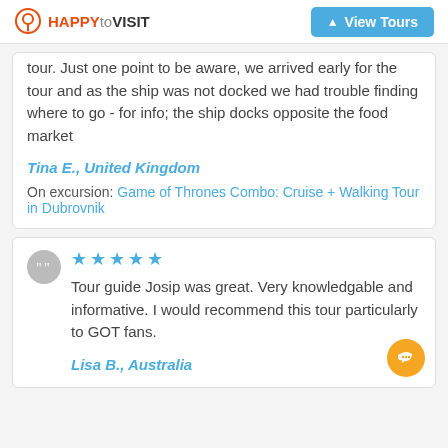HAPPYtoVISIT | View Tours
tour. Just one point to be aware, we arrived early for the tour and as the ship was not docked we had trouble finding where to go - for info; the ship docks opposite the food market
Tina E., United Kingdom
On excursion: Game of Thrones Combo: Cruise + Walking Tour in Dubrovnik
★★★★★
Tour guide Josip was great. Very knowledgable and informative. I would recommend this tour particularly to GOT fans.
Lisa B., Australia